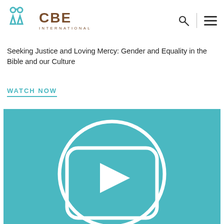[Figure (logo): CBE International logo with teal icon and brown text]
Seeking Justice and Loving Mercy: Gender and Equality in the Bible and our Culture
WATCH NOW
[Figure (screenshot): Teal video thumbnail with play button icon (circle with rounded-rectangle and triangle)]